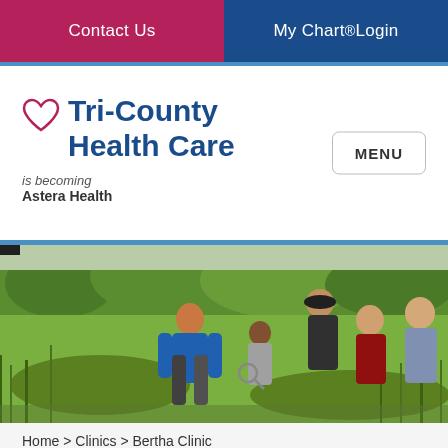Contact Us | My Chart ® Login
[Figure (logo): Tri-County Health Care logo with heart icon, text 'Tri-County Health Care', subtext 'is becoming Astera Health']
[Figure (photo): Group of children and adults crouching in a green field, looking at something through a magnifying glass, surrounded by trees and tall grass]
Home > Clinics > Bertha Clinic